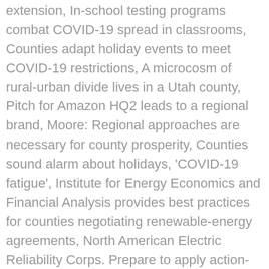extension, In-school testing programs combat COVID-19 spread in classrooms, Counties adapt holiday events to meet COVID-19 restrictions, A microcosm of rural-urban divide lives in a Utah county, Pitch for Amazon HQ2 leads to a regional brand, Moore: Regional approaches are necessary for county prosperity, Counties sound alarm about holidays, 'COVID-19 fatigue', Institute for Energy Economics and Financial Analysis provides best practices for counties negotiating renewable-energy agreements, North American Electric Reliability Corps. Prepare to apply action-oriented methods to your conservation work and adopt a systems-thinking approach. 70% of the world's surface is covered by water, 97.5% of that is salt water. Downloadable For 30 Days - $295. The regulation required the state's larger urban water suppliers (those with more than 3,000 connections or supplying more than 3,000 acre-feet of water annually) to provide the Board monthly water conservation and production reports. Learn about water and easy ways to save, play again. Photo by Emma